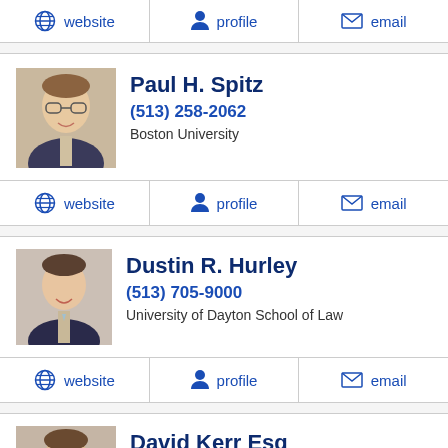website | profile | email (action bar top)
[Figure (photo): Headshot photo of Paul H. Spitz, middle-aged man with glasses]
Paul H. Spitz
(513) 258-2062
Boston University
website | profile | email
[Figure (photo): Headshot photo of Dustin R. Hurley, younger man in suit]
Dustin R. Hurley
(513) 705-9000
University of Dayton School of Law
website | profile | email
[Figure (photo): Headshot photo of David Kerr Esq, partial view]
David Kerr Esq
(800) 634-1585 (partial)